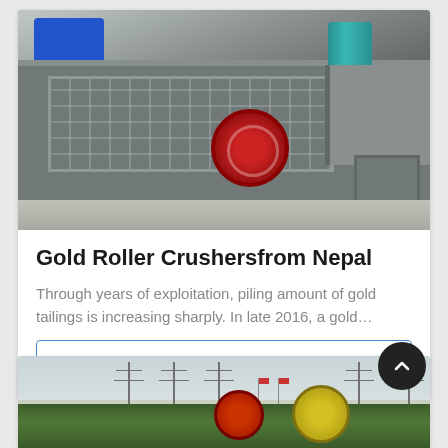[Figure (photo): Industrial roller crusher machinery in a factory/warehouse setting. Large grey metal frame with blue electric motor on top left, red circular emblem in center, teal/green cylindrical component, and mechanical arm on right side. Machine sits on concrete floor.]
Gold Roller Crushersfrom Nepal
Through years of exploitation, piling amount of gold tailings is increasing sharply. In late 2016, a gold…
Get Price
[Figure (photo): Outdoor industrial site with red and yellow-green large jaw crusher/wheel machines in the foreground, trees and power line pylons in the background against an overcast sky.]